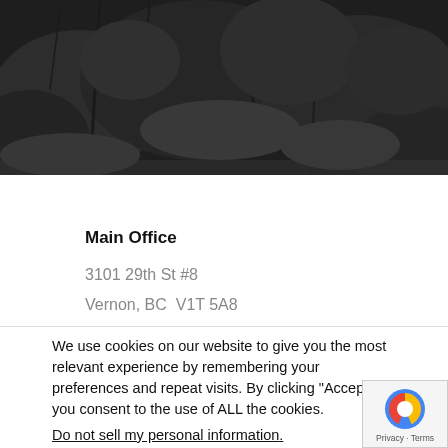[Figure (photo): Dark nature/forest scene with branches and shrubs as a hero banner image]
Main Office
3101 29th St #8
Vernon, BC  V1T 5A8
We use cookies on our website to give you the most relevant experience by remembering your preferences and repeat visits. By clicking “Accept”, you consent to the use of ALL the cookies.
Do not sell my personal information.
Cookie Settings
Accept